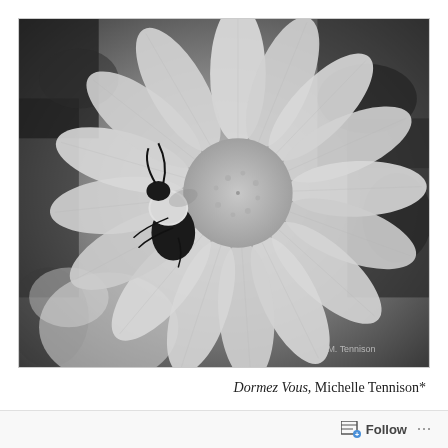[Figure (photo): Black and white close-up photograph of a bumblebee on a large white cosmos or dahlia flower. The bee is positioned on the left side of the flower's petals, facing left. The flower has many ridged petals radiating outward and a round center. Background shows blurred foliage. Watermark text 'M. Tennison' visible in lower right of image.]
Dormez Vous,  Michelle Tennison*
Follow ···